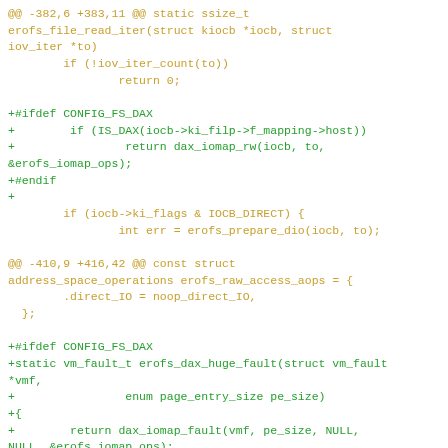Code diff showing changes to erofs_file_read_iter and address_space_operations with CONFIG_FS_DAX additions